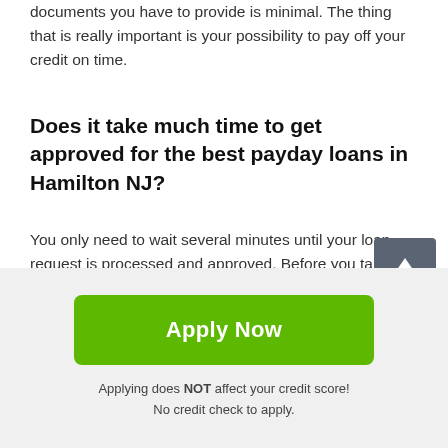documents you have to provide is minimal. The thing that is really important is your possibility to pay off your credit on time.
Does it take much time to get approved for the best payday loans in Hamilton NJ?
You only need to wait several minutes until your loan request is processed and approved. Before you take a loan from a credit company, study the loan treaty carefully. This document contains the most important information. If everything is OK and your application is approved, you will be connected to the lender. Discuss all the issues concerning a pay day loan Hamilton of New Jersey
Apply Now
Applying does NOT affect your credit score!
No credit check to apply.